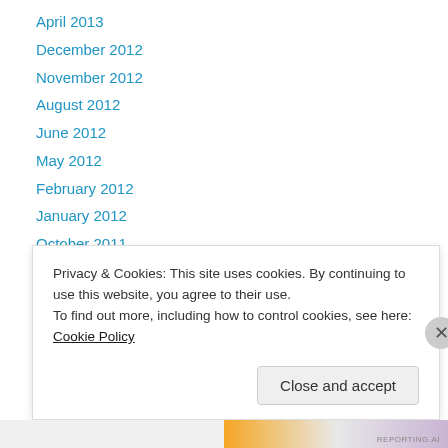April 2013
December 2012
November 2012
August 2012
June 2012
May 2012
February 2012
January 2012
October 2011
August 2011
July 2011
June 2011
May 2011
Privacy & Cookies: This site uses cookies. By continuing to use this website, you agree to their use.
To find out more, including how to control cookies, see here: Cookie Policy